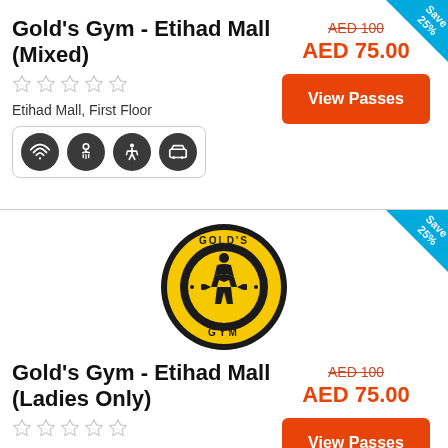Gold's Gym - Etihad Mall (Mixed)
Etihad Mall, First Floor
AED 100
AED 75.00
View Passes
[Figure (logo): Gold's Gym circular logo with yellow background and bodybuilder silhouette]
Gold's Gym - Etihad Mall (Ladies Only)
Etihad Mall, First Floor
AED 100
AED 75.00
View Passes